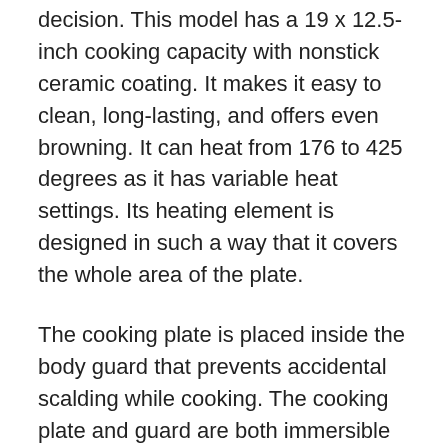decision. This model has a 19 x 12.5-inch cooking capacity with nonstick ceramic coating. It makes it easy to clean, long-lasting, and offers even browning. It can heat from 176 to 425 degrees as it has variable heat settings. Its heating element is designed in such a way that it covers the whole area of the plate.
The cooking plate is placed inside the body guard that prevents accidental scalding while cooking. The cooking plate and guard are both immersible for complete cleaning. Fry anything with this Gourmet Sizzler, from pork chops to pancakes. This indoor electric grill is designed to barbecue steaks, vegetables, or seafood at the dining table with minimum effort. Broil and roast your meat or fish as its catalytic filter keeps the odor inside.